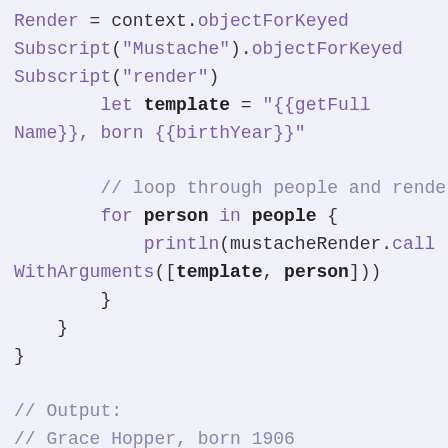Render = context.objectForKeyedSubscript("Mustache").objectForKeyedSubscript("render")
        let template = "{{getFullName}}, born {{birthYear}}"

        // loop through people and render Pe
        for person in people {
            println(mustacheRender.callWithArguments([template, person]))
        }
    }
}

// Output:
// Grace Hopper, born 1906
// Ada Lovelace, born 1815